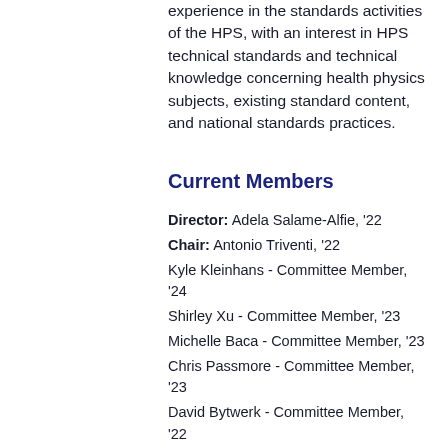experience in the standards activities of the HPS, with an interest in HPS technical standards and technical knowledge concerning health physics subjects, existing standard content, and national standards practices.
Current Members
Director: Adela Salame-Alfie, '22
Chair: Antonio Triventi, '22
Kyle Kleinhans - Committee Member, '24
Shirley Xu - Committee Member, '23
Michelle Baca - Committee Member, '23
Chris Passmore - Committee Member, '23
David Bytwerk - Committee Member, '22
Stanley Mavrogianis - Committee